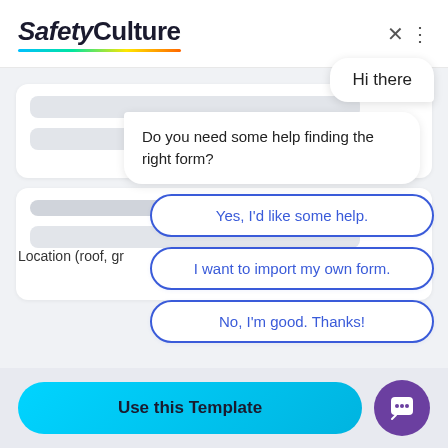[Figure (screenshot): SafetyCulture app header with logo and close button]
Hi there
Do you need some help finding the right form?
Yes, I'd like some help.
I want to import my own form.
No, I'm good. Thanks!
Location (roof, gr
Use this Template